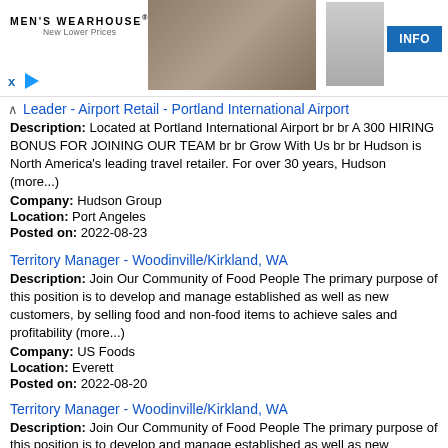[Figure (photo): Men's Wearhouse advertisement banner showing a couple in formal wear and a suited man, with INFO button]
Leader - Airport Retail - Portland International Airport
Description: Located at Portland International Airport br br A 300 HIRING BONUS FOR JOINING OUR TEAM br br Grow With Us br br Hudson is North America's leading travel retailer. For over 30 years, Hudson (more...)
Company: Hudson Group
Location: Port Angeles
Posted on: 2022-08-23
Territory Manager - Woodinville/Kirkland, WA
Description: Join Our Community of Food People The primary purpose of this position is to develop and manage established as well as new customers, by selling food and non-food items to achieve sales and profitability (more...)
Company: US Foods
Location: Everett
Posted on: 2022-08-20
Territory Manager - Woodinville/Kirkland, WA
Description: Join Our Community of Food People The primary purpose of this position is to develop and manage established as well as new customers, by selling food and non-food items to